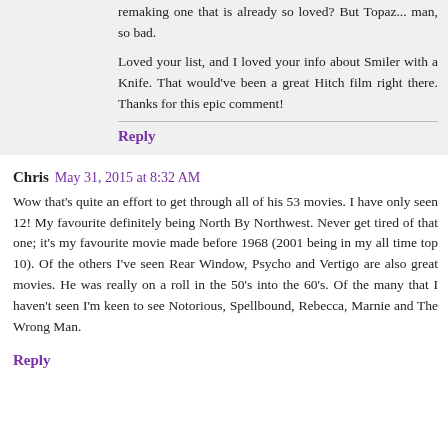remaking one that is already so loved? But Topaz... man, so bad.
Loved your list, and I loved your info about Smiler with a Knife. That would've been a great Hitch film right there. Thanks for this epic comment!
Reply
Chris  May 31, 2015 at 8:32 AM
Wow that's quite an effort to get through all of his 53 movies. I have only seen 12! My favourite definitely being North By Northwest. Never get tired of that one; it's my favourite movie made before 1968 (2001 being in my all time top 10). Of the others I've seen Rear Window, Psycho and Vertigo are also great movies. He was really on a roll in the 50's into the 60's. Of the many that I haven't seen I'm keen to see Notorious, Spellbound, Rebecca, Marnie and The Wrong Man.
Reply